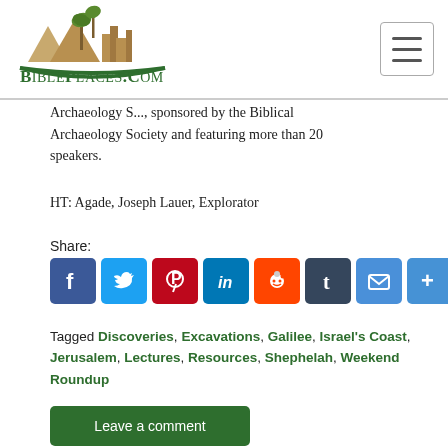[Figure (logo): BiblePlaces.com logo with golden mountain/palmtree/city skyline illustration above green text 'BiblePlaces.com']
Archaeology S..., sponsored by the Biblical Archaeology Society and featuring more than 20 speakers.
HT: Agade, Joseph Lauer, Explorator
Share:
[Figure (infographic): Row of social share icon buttons: Facebook, Twitter, Pinterest, LinkedIn, Reddit, Tumblr, Email, More]
Tagged Discoveries, Excavations, Galilee, Israel's Coast, Jerusalem, Lectures, Resources, Shephelah, Weekend Roundup
Leave a comment